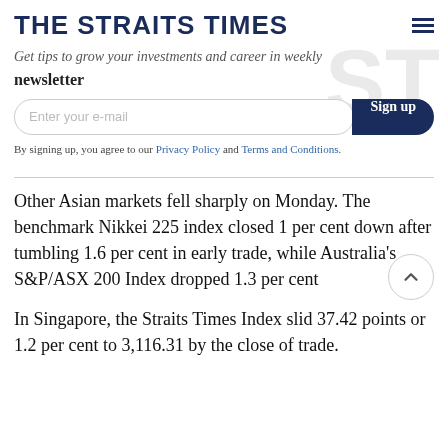THE STRAITS TIMES
Get tips to grow your investments and career in weekly newsletter
Enter your e-mail  Sign up
By signing up, you agree to our Privacy Policy and Terms and Conditions.
Other Asian markets fell sharply on Monday. The benchmark Nikkei 225 index closed 1 per cent down after tumbling 1.6 per cent in early trade, while Australia's S&P/ASX 200 Index dropped 1.3 per cent
In Singapore, the Straits Times Index slid 37.42 points or 1.2 per cent to 3,116.31 by the close of trade.